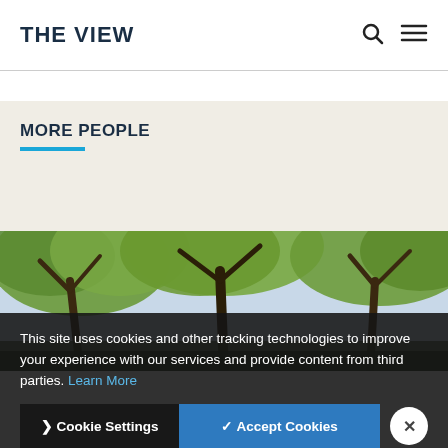THE VIEW
MORE PEOPLE
[Figure (photo): Outdoor photo of large leafy trees with branches spreading across the frame, campus setting]
This site uses cookies and other tracking technologies to improve your experience with our services and provide content from third parties. Learn More
Cookie Settings
Accept Cookies